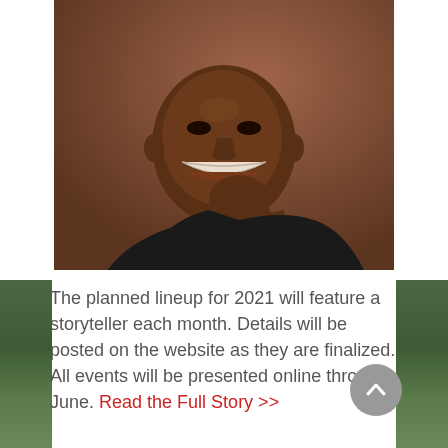[Figure (photo): A smiling Black man in a black t-shirt, resting his chin/fist near his face, photographed against a warm brown background. Close-up portrait showing head and upper torso.]
The planned lineup for 2021 will feature a storyteller each month. Details will be posted on the website as they are finalized. All events will be presented online through June. Read the Full Story >>